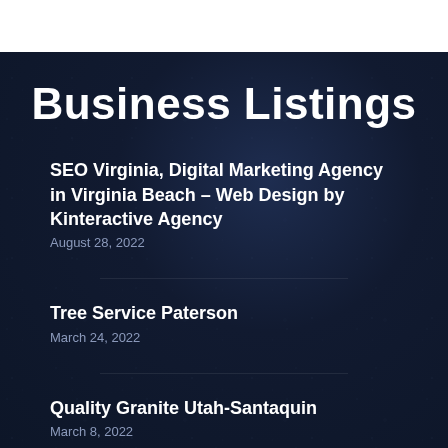Business Listings
SEO Virginia, Digital Marketing Agency in Virginia Beach – Web Design by Kinteractive Agency
August 28, 2022
Tree Service Paterson
March 24, 2022
Quality Granite Utah-Santaquin
March 8, 2022